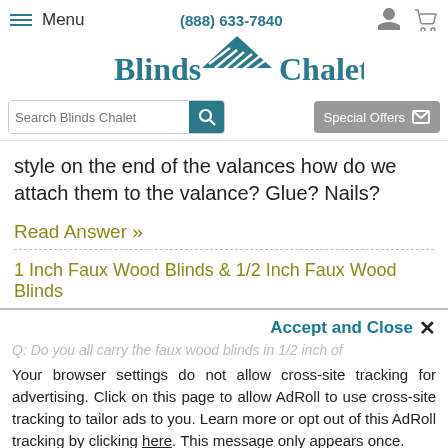≡ Menu | (888) 633-7840 | Blinds Chalet
[Figure (logo): Blinds Chalet logo with house icon]
Search Blinds Chalet | Special Offers
style on the end of the valances how do we attach them to the valance? Glue? Nails?
Read Answer »
1 Inch Faux Wood Blinds & 1/2 Inch Faux Wood Blinds
Accept and Close ✕
Do you all carry the faux wood blinds in 1/2 inch of
Your browser settings do not allow cross-site tracking for advertising. Click on this page to allow AdRoll to use cross-site tracking to tailor ads to you. Learn more or opt out of this AdRoll tracking by clicking here. This message only appears once.